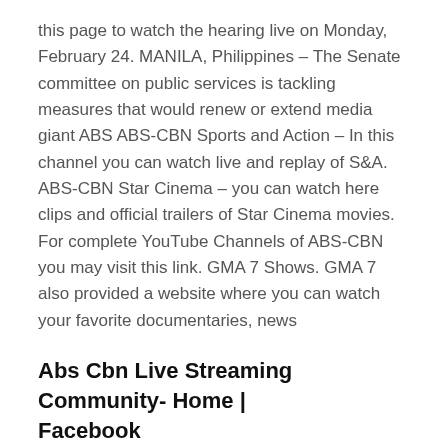this page to watch the hearing live on Monday, February 24. MANILA, Philippines – The Senate committee on public services is tackling measures that would renew or extend media giant ABS ABS-CBN Sports and Action – In this channel you can watch live and replay of S&A. ABS-CBN Star Cinema – you can watch here clips and official trailers of Star Cinema movies. For complete YouTube Channels of ABS-CBN you may visit this link. GMA 7 Shows. GMA 7 also provided a website where you can watch your favorite documentaries, news
Abs Cbn Live Streaming Community‑ Home | Facebook
Jul 20, 2020 ABS-CBN Sports ABS-CBN Sports gets you into the heart of the action and more. Get into the game and go beyond it. Catch the latest scores and sports news here and around the world. Learn the stories behind each Abs Cbn Live